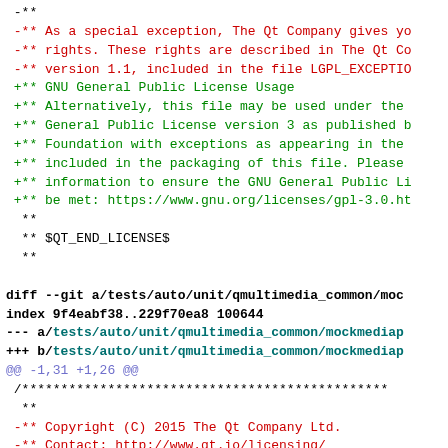diff --git code listing showing license header changes in Qt multimedia unit tests, including removal of LGPL21 and addition of GPL_EXCEPT lines, copyright year update from 2015 to 2016, and contact URL change from http to https.